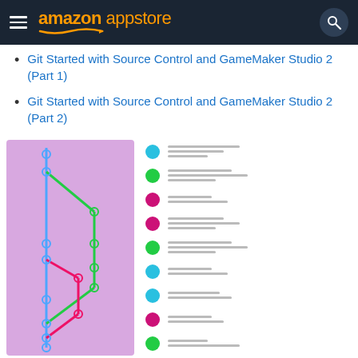amazon appstore
Git Started with Source Control and GameMaker Studio 2 (Part 1)
Git Started with Source Control and GameMaker Studio 2 (Part 2)
[Figure (other): Git branching diagram with colored lines (blue, green, red) and commit nodes on a purple background, paired with a legend list of colored dots (cyan, green, pink/magenta, cyan, cyan, pink, green) and blurred text lines]